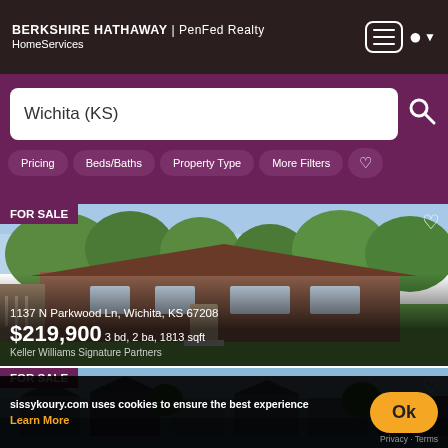BERKSHIRE HATHAWAY | PenFed Realty HomeServices
Wichita (KS)
Pricing
Beds/Baths
Property Type
More Filters
[Figure (photo): FOR SALE listing photo of a single-story brick ranch house at 1137 N Parkwood Ln, Wichita, KS 67208, with green lawn and trees]
1137 N Parkwood Ln, Wichita, KS 67208
$219,900 3 bd, 2 ba, 1813 sqft
Keller Williams Signature Partners
[Figure (photo): FOR SALE listing photo partially visible showing waterfront homes]
sissykoury.com uses cookies to ensure the best experience
Learn More
Ok
Privacy · Terms